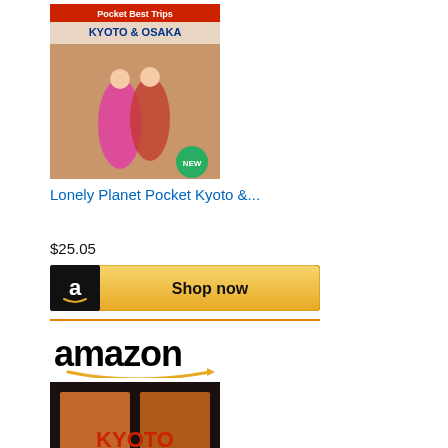[Figure (illustration): Book cover for Lonely Planet Pocket Kyoto & Osaka, showing women in colorful kimonos on a street]
Lonely Planet Pocket Kyoto &...
$25.05
[Figure (logo): Amazon Shop now button with black Amazon 'a' logo icon on dark background]
[Figure (logo): Amazon logo with orange arrow underneath]
[Figure (illustration): Book cover for Kyoto: Seven Paths to The... showing a dark interior with KYOTO text in red]
Kyoto: Seven Paths to The...
$24.95
[Figure (logo): Amazon Shop now button with black Amazon 'a' logo icon on dark background]